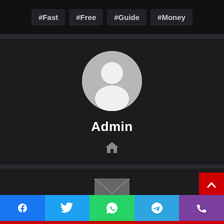#Fast #Free #Guide #Money
[Figure (illustration): Default user avatar (silhouette) in a circular grey frame]
Admin
[Figure (illustration): Home icon]
[Figure (illustration): Envelope/mail icon]
With Product You Purchase
[Figure (illustration): Social share bar with Facebook, Twitter, WhatsApp, Telegram, Phone icons]